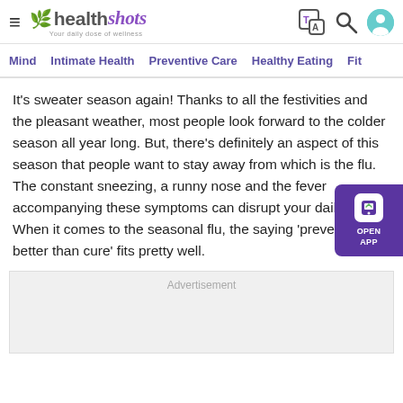healthshots – Your daily dose of wellness
Mind | Intimate Health | Preventive Care | Healthy Eating | Fit…
It's sweater season again! Thanks to all the festivities and the pleasant weather, most people look forward to the colder season all year long. But, there's definitely an aspect of this season that people want to stay away from which is the flu. The constant sneezing, a runny nose and the fever accompanying these symptoms can disrupt your daily life. When it comes to the seasonal flu, the saying 'prevention is better than cure' fits pretty well.
[Figure (other): OPEN APP banner – purple rectangle with app icon and text 'OPEN APP']
Advertisement